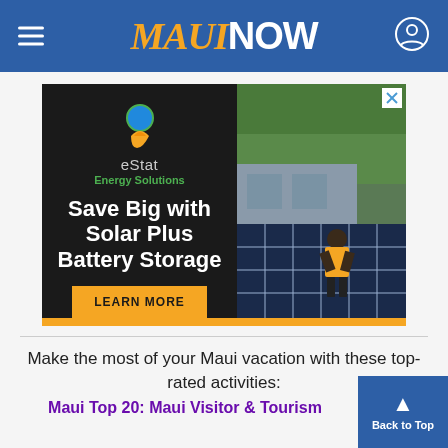MAUI NOW
[Figure (photo): eStat Energy Solutions advertisement: 'Save Big with Solar Plus Battery Storage' with LEARN MORE button. Right side shows photo of worker installing solar panels on a roof.]
Make the most of your Maui vacation with these top-rated activities:
Maui Top 20: Maui Visitor & Tourism